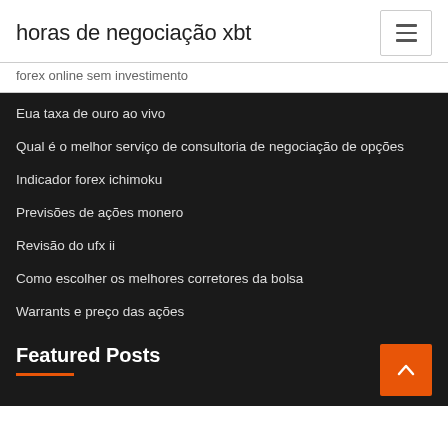horas de negociação xbt
forex online sem investimento
Eua taxa de ouro ao vivo
Qual é o melhor serviço de consultoria de negociação de opções
Indicador forex ichimoku
Previsões de ações monero
Revisão do ufx ii
Como escolher os melhores corretores da bolsa
Warrants e preço das ações
Featured Posts